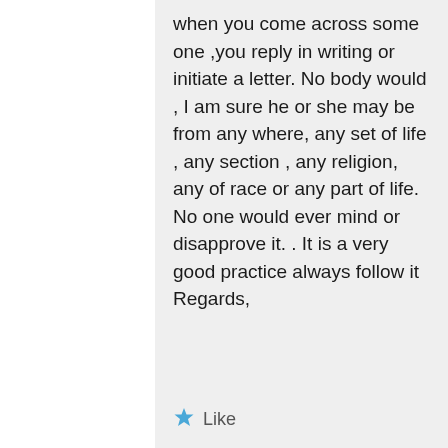when you come across some one ,you reply in writing or initiate a letter. No body would , I am sure he or she may be from any where, any set of life , any section , any religion, any of race or any part of life. No one would ever mind or disapprove it. . It is a very good practice always follow it Regards,
Like